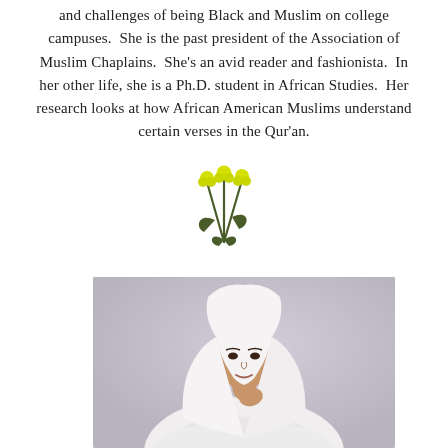and challenges of being Black and Muslim on college campuses.  She is the past president of the Association of Muslim Chaplains.  She's an avid reader and fashionista.  In her other life, she is a Ph.D. student in African Studies.  Her research looks at how African American Muslims understand certain verses in the Qur'an.
[Figure (illustration): Small decorative flower illustration with yellow round blooms and dark green stems/leaves]
[Figure (photo): Portrait photograph of a Black Muslim woman wearing a white hijab and white clothing, posed with hand near chin against a light gray/purple background]